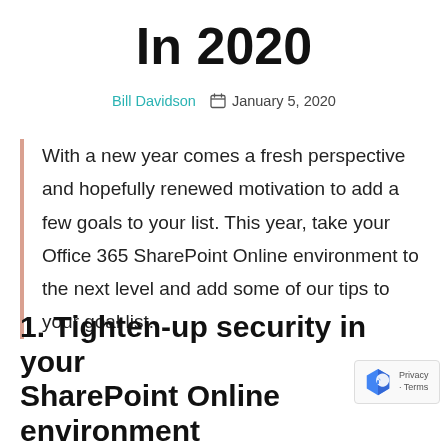In 2020
Bill Davidson   📅 January 5, 2020
With a new year comes a fresh perspective and hopefully renewed motivation to add a few goals to your list.  This year, take your Office 365 SharePoint Online environment to the next level and add some of our tips to your goal list.
1. Tighten-up security in your SharePoint Online environment